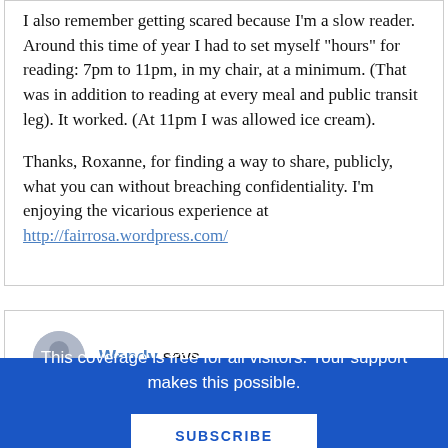I also remember getting scared because I'm a slow reader. Around this time of year I had to set myself “hours” for reading: 7pm to 11pm, in my chair, at a minimum. (That was in addition to reading at every meal and public transit leg). It worked. (At 11pm I was allowed ice cream).
Thanks, Roxanne, for finding a way to share, publicly, what you can without breaching confidentiality. I’m enjoying the vicarious experience at http://fairrosa.wordpress.com/
Wendy says
This coverage is free for all visitors. Your support makes this possible.
SUBSCRIBE